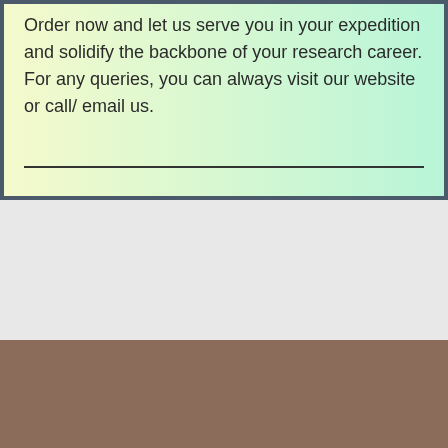Order now and let us serve you in your expedition and solidify the backbone of your research career. For any queries, you can always visit our website or call/ email us.
VIEW OUR OTHER SERVICES
View More